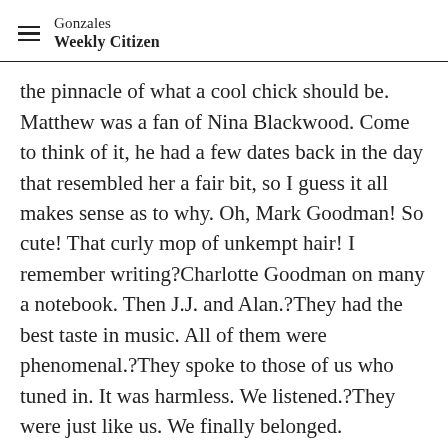Gonzales Weekly Citizen
the pinnacle of what a cool chick should be. Matthew was a fan of Nina Blackwood. Come to think of it, he had a few dates back in the day that resembled her a fair bit, so I guess it all makes sense as to why. Oh, Mark Goodman! So cute! That curly mop of unkempt hair! I remember writing?Charlotte Goodman on many a notebook. Then J.J. and Alan.?They had the best taste in music. All of them were phenomenal.?They spoke to those of us who tuned in. It was harmless. We listened.?They were just like us. We finally belonged.
Oh, and the videos. My favorite band to this day